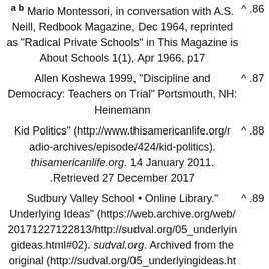a b Mario Montessori, in conversation with A.S. Neill, Redbook Magazine, Dec 1964, reprinted as "Radical Private Schools" in This Magazine is About Schools 1(1), Apr 1966, p17 .86
Allen Koshewa 1999, "Discipline and Democracy: Teachers on Trial" Portsmouth, NH: Heinemann .87
Kid Politics" (http://www.thisamericanlife.org/radio-archives/episode/424/kid-politics). thisamericanlife.org. 14 January 2011. Retrieved 27 December 2017. .88
Sudbury Valley School • Online Library." Underlying Ideas" (https://web.archive.org/web/20171227122813/http://sudval.org/05_underlyingideas.html#02). sudval.org. Archived from the original (http://sudval.org/05_underlyingideas.html#02) on 2017-12-27. Retrieved 27 December 2017. {{cite web}}: |first= missing .89